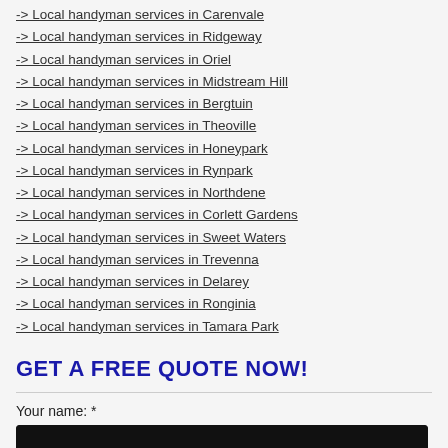-> Local handyman services in Carenvale
-> Local handyman services in Ridgeway
-> Local handyman services in Oriel
-> Local handyman services in Midstream Hill
-> Local handyman services in Bergtuin
-> Local handyman services in Theoville
-> Local handyman services in Honeypark
-> Local handyman services in Rynpark
-> Local handyman services in Northdene
-> Local handyman services in Corlett Gardens
-> Local handyman services in Sweet Waters
-> Local handyman services in Trevenna
-> Local handyman services in Delarey
-> Local handyman services in Ronginia
-> Local handyman services in Tamara Park
GET A FREE QUOTE NOW!
Your name: *
Your email: